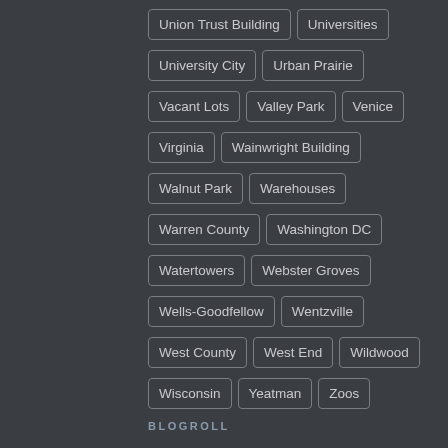Union Trust Building
Universities
University City
Urban Prairie
Vacant Lots
Valley Park
Venice
Virginia
Wainwright Building
Walnut Park
Warehouses
Warren County
Washington DC
Watertowers
Webster Groves
Wells-Goodfellow
Wentzville
West County
West End
Wildwood
Wisconsin
Yeatman
Zoos
BLOGROLL